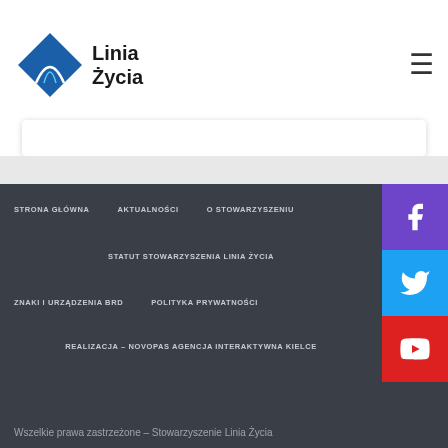[Figure (logo): Linia Życia logo - diamond shaped icon with road, text 'Linia Życia']
STRONA GŁÓWNA
AKTUALNOŚCI
O STOWARZYSZENIU
STATUT STOWARZYSZENIA LINIA ŻYCIA
ZNAKI I URZĄDZENIA BRD
POLITYKA PRYWATNOŚCI
REALIZACJA – NOVOPAS AGENCJA INTERAKTYWNA KIELCE
Wszelkie prawa zastrzeżone – Stowarzyszenie Linia Życia